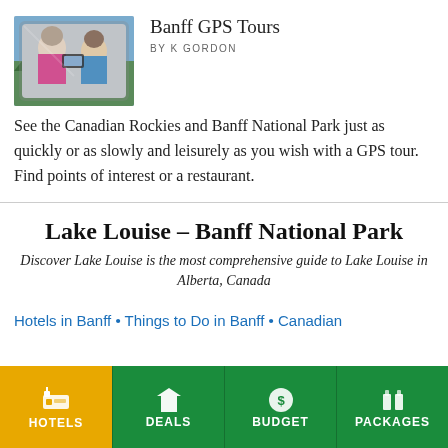[Figure (photo): Photo of two people in a car looking at a map or phone, viewed through car window]
Banff GPS Tours
BY K GORDON
See the Canadian Rockies and Banff National Park just as quickly or as slowly and leisurely as you wish with a GPS tour. Find points of interest or a restaurant.
Lake Louise – Banff National Park
Discover Lake Louise is the most comprehensive guide to Lake Louise in Alberta, Canada
Hotels in Banff • Things to Do in Banff • Canadian
HOTELS
DEALS
BUDGET
PACKAGES